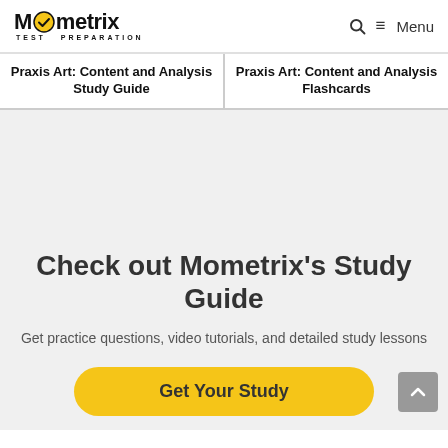Mometrix TEST PREPARATION — Search — Menu
Praxis Art: Content and Analysis Study Guide
Praxis Art: Content and Analysis Flashcards
Check out Mometrix's Study Guide
Get practice questions, video tutorials, and detailed study lessons
Get Your Study